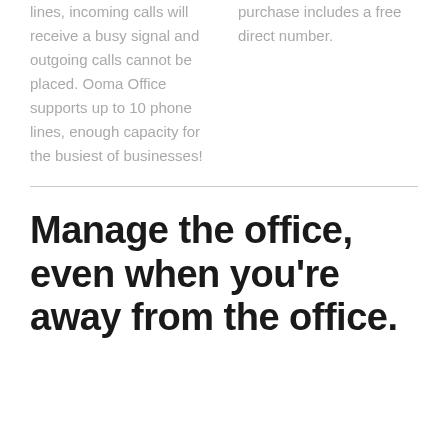lines, incoming calls will receive a busy signal and outgoing calls cannot be placed. Ooma Office supports up to 10 phone lines, enough capacity for the busiest of businesses!
purchase includes a free direct number.
Manage the office, even when you're away from the office.